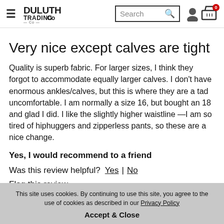Duluth Trading Co — Search bar — User icon — Cart (0)
Very nice except calves are tight
Quality is superb fabric. For larger sizes, I think they forgot to accommodate equally larger calves. I don't have enormous ankles/calves, but this is where they are a tad uncomfortable. I am normally a size 16, but bought an 18 and glad I did. I like the slightly higher waistline —I am so tired of hiphuggers and zipperless pants, so these are a nice change.
Yes, I would recommend to a friend
Was this review helpful?  Yes  |  No
Flag this review
This site uses cookies. By continuing to use this site, you agree to the use of cookies as described in our Privacy Policy
Accept & Close